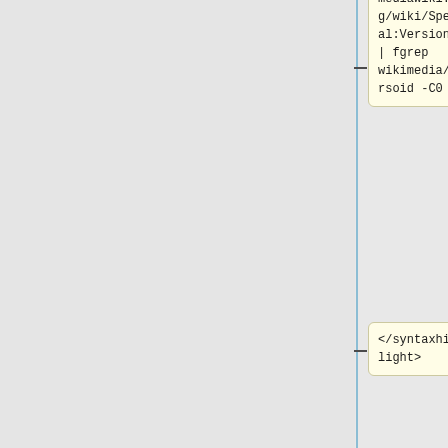mediawiki.org/wiki/Special:Version' | fgrep wikimedia/parsoid -C0
</syntaxhighlight>
* TBD: test edits
* TBD: log links
==== Group 1 ====
* TBD